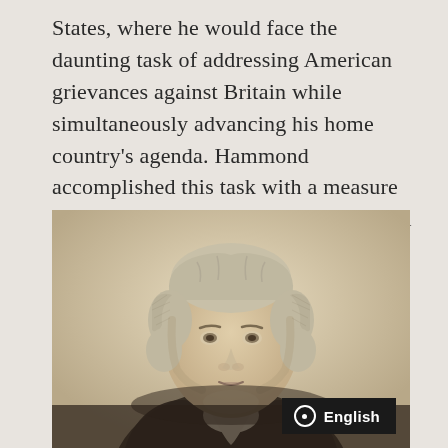States, where he would face the daunting task of addressing American grievances against Britain while simultaneously advancing his home country's agenda. Hammond accomplished this task with a measure of difficulty during his four-year station in the United States.
[Figure (illustration): A sepia-toned engraved portrait of a man with curly powdered hair, wearing a dark coat and white cravat, depicted from the chest up, in a historical 18th/19th century style.]